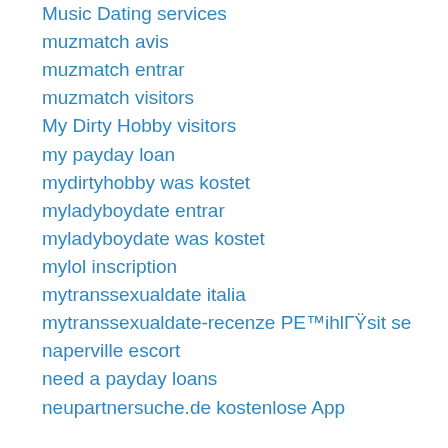Music Dating services
muzmatch avis
muzmatch entrar
muzmatch visitors
My Dirty Hobby visitors
my payday loan
mydirtyhobby was kostet
myladyboydate entrar
myladyboydate was kostet
mylol inscription
mytranssexualdate italia
mytranssexualdate-recenze PE™ihlГŸsit se
naperville escort
need a payday loans
neupartnersuche.de kostenlose App